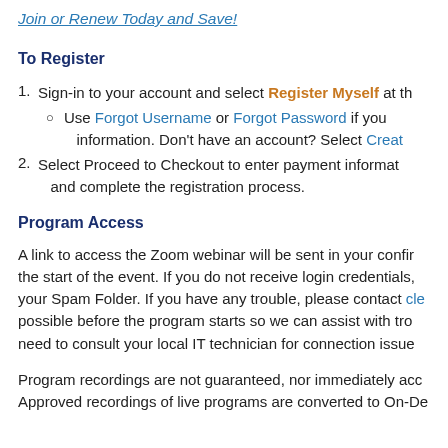Join or Renew Today and Save!
To Register
Sign-in to your account and select Register Myself at the...
Use Forgot Username or Forgot Password if you... information. Don't have an account? Select Creat...
Select Proceed to Checkout to enter payment informat... and complete the registration process.
Program Access
A link to access the Zoom webinar will be sent in your confir... the start of the event. If you do not receive login credentials, your Spam Folder. If you have any trouble, please contact cle... possible before the program starts so we can assist with tro... need to consult your local IT technician for connection issue...
Program recordings are not guaranteed, nor immediately acc... Approved recordings of live programs are converted to On-De...